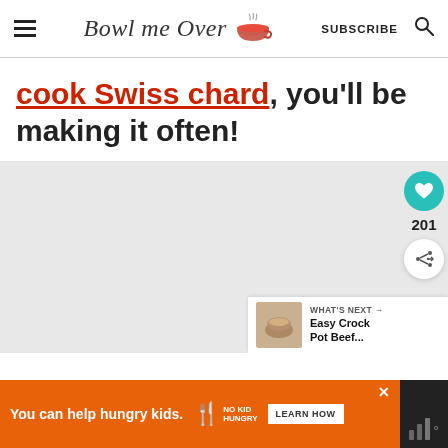Bowl me Over | SUBSCRIBE
cook Swiss chard, you'll be making it often!
[Figure (photo): Gray placeholder image area with floating heart/share buttons and a 'What's Next: Easy Crock Pot Beef...' banner in the bottom right]
You can help hungry kids. NO KID HUNGRY LEARN HOW